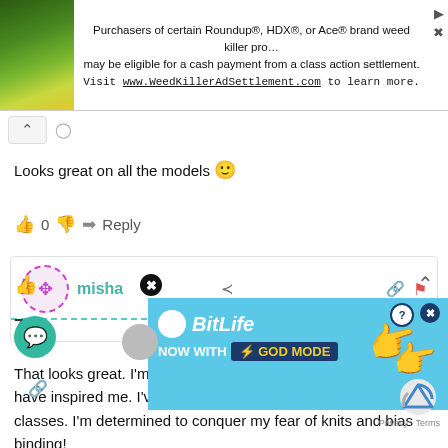[Figure (screenshot): Advertisement banner for WeedKillerAdSettlement.com with plant photo on left and text about Roundup, HDX, Ace brand weed killer class action settlement]
Looks great on all the models 🙂
0  Reply
misha
That looks great. I'm so going to try this after pay day. Deby you have inspired me. I've signed up for some craftsy sewing classes. I'm determined to conquer my fear of knits and bias binding!
[Figure (screenshot): BitLife ad overlay with blue background, NOW WITH GOD MODE text, close button, and hand pointing graphic]